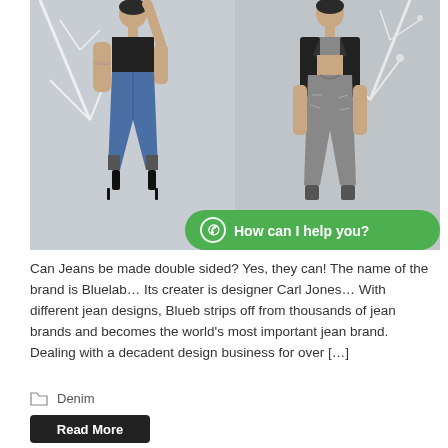[Figure (photo): Two female fashion models posing against a white background with decorative white branches. Left model wears a black crop top and blue denim drop-crotch jeans with black heels and has tattoos. Right model wears a grey sports bra, black blazer, and grey distressed drop-crotch jeans. A green WhatsApp chat button overlay reads 'How can I help you?']
Can Jeans be made double sided? Yes, they can! The name of the brand is Bluelab… Its creater is designer Carl Jones… With different jean designs, Blueb strips off from thousands of jean brands and becomes the world's most important jean brand. Dealing with a decadent design business for over […]
Denim
Read More